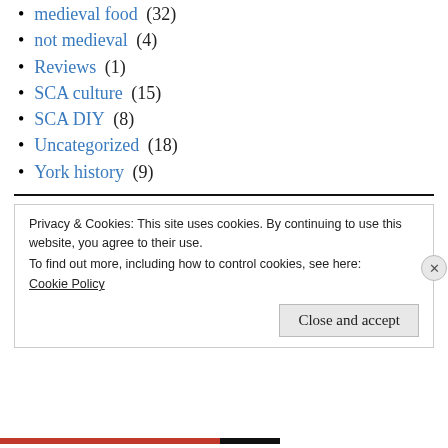medieval food (32)
not medieval (4)
Reviews (1)
SCA culture (15)
SCA DIY (8)
Uncategorized (18)
York history (9)
Privacy & Cookies: This site uses cookies. By continuing to use this website, you agree to their use.
To find out more, including how to control cookies, see here:
Cookie Policy
Close and accept